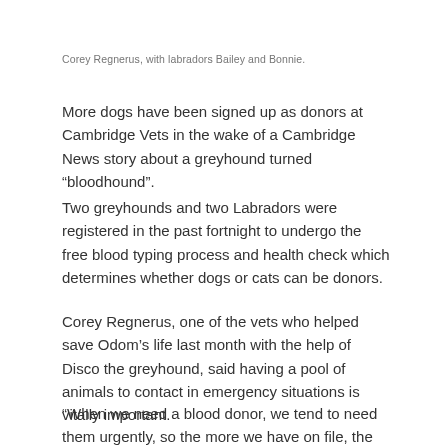Corey Regnerus, with labradors Bailey and Bonnie.
More dogs have been signed up as donors at Cambridge Vets in the wake of a Cambridge News story about a greyhound turned “bloodhound”.
Two greyhounds and two Labradors were registered in the past fortnight to undergo the free blood typing process and health check which determines whether dogs or cats can be donors.
Corey Regnerus, one of the vets who helped save Odom’s life last month with the help of Disco the greyhound, said having a pool of animals to contact in emergency situations is vitally important.
“When we need a blood donor, we tend to need them urgently, so the more we have on file, the more chance that we have one available when it really counts.”